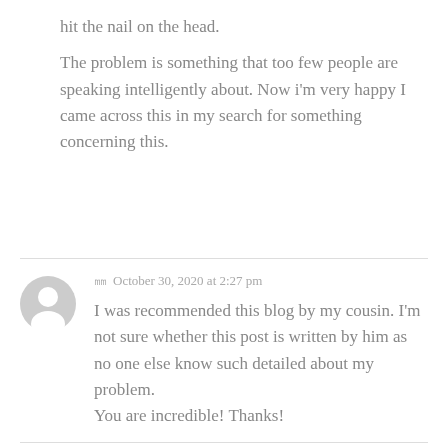hit the nail on the head.

The problem is something that too few people are speaking intelligently about. Now i'm very happy I came across this in my search for something concerning this.
㎜  October 30, 2020 at 2:27 pm

I was recommended this blog by my cousin. I'm not sure whether this post is written by him as no one else know such detailed about my problem.
You are incredible! Thanks!